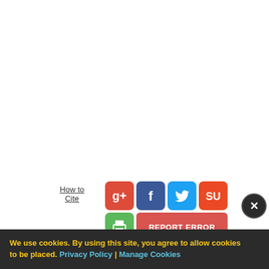How to Cite
[Figure (infographic): Social sharing buttons: Google+, Facebook, Twitter, StumbleUpon, Print, and Report Error button]
We use cookies. By using this site, you agree to allow cookies to be placed. Privacy Policy | Manage Cookies